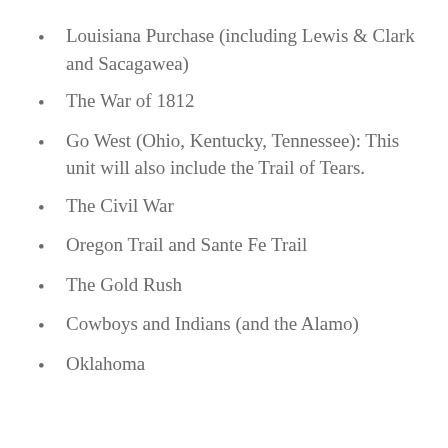Louisiana Purchase (including Lewis & Clark and Sacagawea)
The War of 1812
Go West (Ohio, Kentucky, Tennessee): This unit will also include the Trail of Tears.
The Civil War
Oregon Trail and Sante Fe Trail
The Gold Rush
Cowboys and Indians (and the Alamo)
Oklahoma